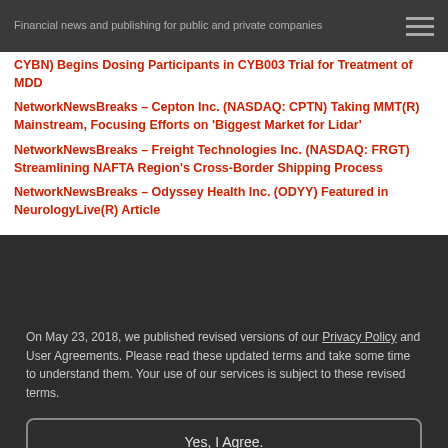Financial news and publishing for public and private companies
CYBN) Begins Dosing Participants in CYB003 Trial for Treatment of MDD
NetworkNewsBreaks – Cepton Inc. (NASDAQ: CPTN) Taking MMT(R) Mainstream, Focusing Efforts on 'Biggest Market for Lidar'
NetworkNewsBreaks – Freight Technologies Inc. (NASDAQ: FRGT) Streamlining NAFTA Region's Cross-Border Shipping Process
NetworkNewsBreaks – Odyssey Health Inc. (ODYY) Featured in NeurologyLive(R) Article
On May 23, 2018, we published revised versions of our Privacy Policy and User Agreements. Please read these updated terms and take some time to understand them. Your use of our services is subject to these revised terms.
Yes, I Agree.